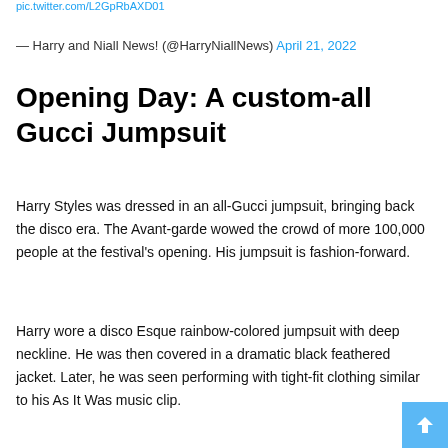pic.twitter.com/L2GpRbAXD01
— Harry and Niall News! (@HarryNiallNews) April 21, 2022
Opening Day: A custom-all Gucci Jumpsuit
Harry Styles was dressed in an all-Gucci jumpsuit, bringing back the disco era. The Avant-garde wowed the crowd of more 100,000 people at the festival's opening. His jumpsuit is fashion-forward.
Harry wore a disco Esque rainbow-colored jumpsuit with deep neckline. He was then covered in a dramatic black feathered jacket. Later, he was seen performing with tight-fit clothing similar to his As It Was music clip.